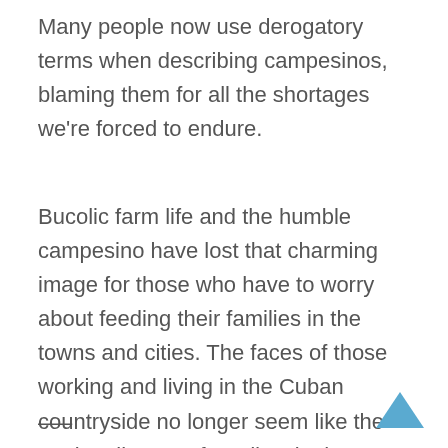Many people now use derogatory terms when describing campesinos, blaming them for all the shortages we're forced to endure.
Bucolic farm life and the humble campesino have lost that charming image for those who have to worry about feeding their families in the towns and cities. The faces of those working and living in the Cuban countryside no longer seem like the quaint allegory of guajiros in the painting by Abela.*
—–